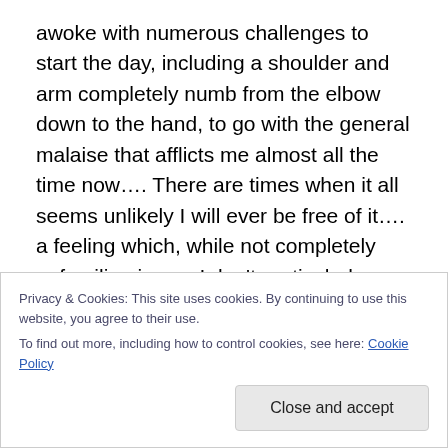awoke with numerous challenges to start the day, including a shoulder and arm completely numb from the elbow down to the hand, to go with the general malaise that afflicts me almost all the time now…. There are times when it all seems unlikely I will ever be free of it…. a feeling which, while not completely unfamiliar, is one I don't particularly enjoy…..
That said, I'm going to have to abandon this rant in mid-shout, so to speak, as I simply can't type any more today…. From this point, it will be all cutting and pasting,
Privacy & Cookies: This site uses cookies. By continuing to use this website, you agree to their use.
To find out more, including how to control cookies, see here: Cookie Policy